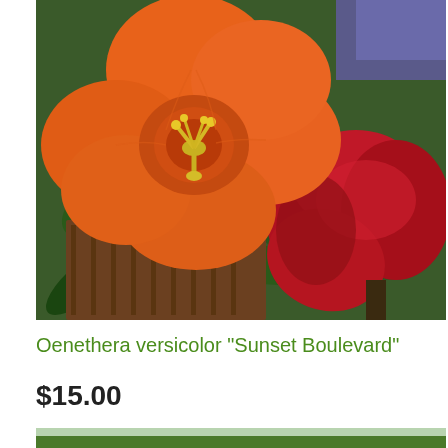[Figure (photo): Close-up photograph of orange Oenothera versicolor 'Sunset Boulevard' flower with yellow stamens in center, and a red-crimson flower bud to the right, green foliage in background]
Oenethera versicolor "Sunset Boulevard"
$15.00
[Figure (photo): Partial view of a second plant/garden photograph at the bottom of the page, showing green foliage]